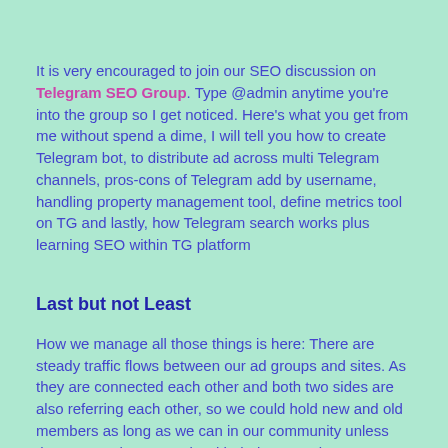It is very encouraged to join our SEO discussion on Telegram SEO Group. Type @admin anytime you're into the group so I get noticed. Here's what you get from me without spend a dime, I will tell you how to create Telegram bot, to distribute ad across multi Telegram channels, pros-cons of Telegram add by username, handling property management tool, define metrics tool on TG and lastly, how Telegram search works plus learning SEO within TG platform
Last but not Least
How we manage all those things is here: There are steady traffic flows between our ad groups and sites. As they are connected each other and both two sides are also referring each other, so we could hold new and old members as long as we can in our community unless they are not happy again with their respective reasons. We understand there's processing that indicates coming in